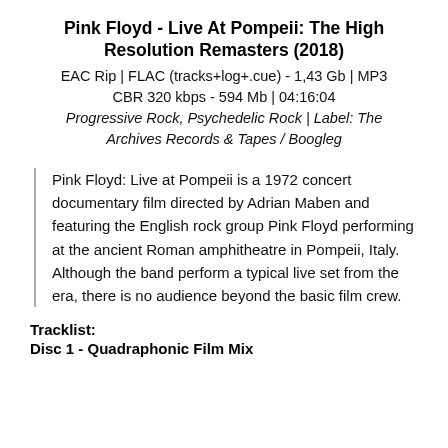Pink Floyd - Live At Pompeii: The High Resolution Remasters (2018)
EAC Rip | FLAC (tracks+log+.cue) - 1,43 Gb | MP3 CBR 320 kbps - 594 Mb | 04:16:04
Progressive Rock, Psychedelic Rock | Label: The Archives Records & Tapes / Boogleg
Pink Floyd: Live at Pompeii is a 1972 concert documentary film directed by Adrian Maben and featuring the English rock group Pink Floyd performing at the ancient Roman amphitheatre in Pompeii, Italy. Although the band perform a typical live set from the era, there is no audience beyond the basic film crew.
Tracklist:
Disc 1 - Quadraphonic Film Mix